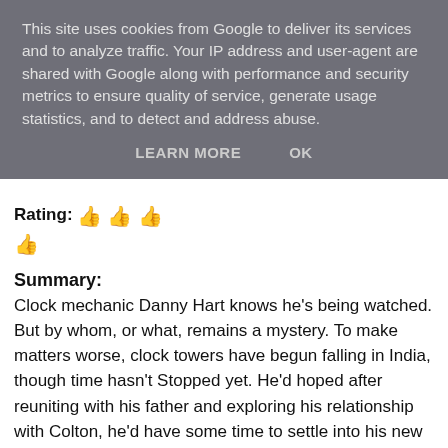This site uses cookies from Google to deliver its services and to analyze traffic. Your IP address and user-agent are shared with Google along with performance and security metrics to ensure quality of service, generate usage statistics, and to detect and address abuse.
LEARN MORE   OK
Rating: 👍 👍 👍 👍
[Figure (illustration): Dark navy blue book cover with white floral and botanical decorative pattern featuring flowers, leaves, and curling vines.]
Summary:
Clock mechanic Danny Hart knows he's being watched. But by whom, or what, remains a mystery. To make matters worse, clock towers have begun falling in India, though time hasn't Stopped yet. He'd hoped after reuniting with his father and exploring his relationship with Colton, he'd have some time to settle into his new life. Instead, he's asked to investigate the attacks.